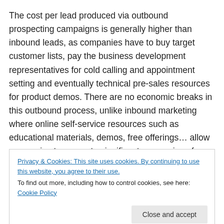The cost per lead produced via outbound prospecting campaigns is generally higher than inbound leads, as companies have to buy target customer lists, pay the business development representatives for cold calling and appointment setting and eventually technical pre-sales resources for product demos. There are no economic breaks in this outbound process, unlike inbound marketing where online self-service resources such as educational materials, demos, free offerings… allow companies to generate significant economies of scale.
Privacy & Cookies: This site uses cookies. By continuing to use this website, you agree to their use. To find out more, including how to control cookies, see here: Cookie Policy
(typically 2-4 weeks for first appointments; 2-3 months to